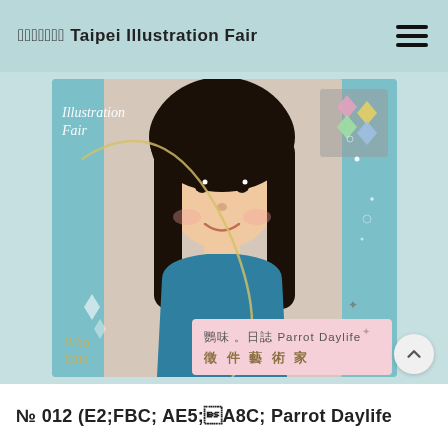臺北插畫藝術節 Taipei Illustration Fair
[Figure (photo): Promotional photo for Taipei Illustration Fair showing a young woman with long dark hair wearing a teal top, overlaid with decorative illustration elements including diamond gems, swirling lines, and text reading 'Illustration Fair', '鸚味。日誌 Parrot Daylife', '徵件藝術家', and 'Wholane']
№ 012 鸚味 日誌 Parrot Daylife